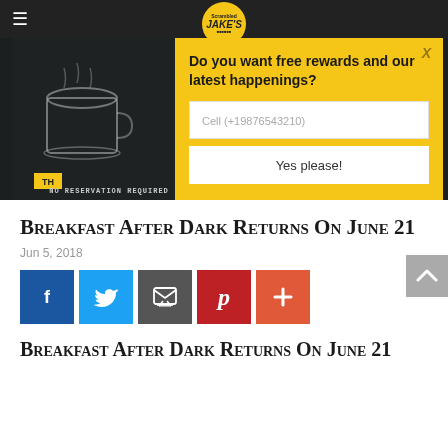≡  [Scrambled Jaket logo]
[Figure (screenshot): Dark chalkboard-style hero image with food/coffee chalk drawings and text 'NO RESERVATION REQUIRED' at the bottom]
[Figure (screenshot): Yellow popup modal asking 'Do you want free rewards and our latest happenings?' with a phone number input field 'Cell (+19876543210)' and 'Yes please!' button, with an X close button]
Breakfast After Dark Returns On June 21
Jun 5, 2018
[Figure (infographic): Social share buttons: Facebook (blue), Twitter (light blue), Email (dark grey), Pinterest (red), Plus/More (orange-red)]
Breakfast After Dark Returns On June 21